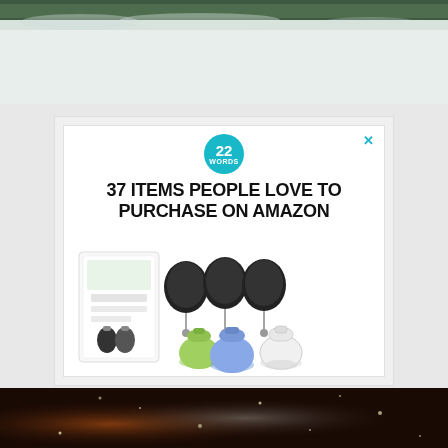[Figure (photo): Top portion of a snowy winter outdoor scene with grey-white sky and snow-covered ground/trees]
[Figure (infographic): Advertisement popup with '22 Words' teal circular logo, headline '37 ITEMS PEOPLE LOVE TO PURCHASE ON AMAZON', and product image showing retractable badge reel silicone travel bottles in green, blue, and clear with a product box]
[Figure (photo): Bottom portion of a dark bokeh background with warm brown/orange tones and sparkle light effects]